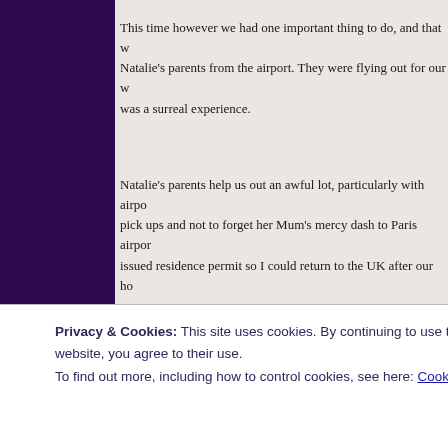This time however we had one important thing to do, and that w... Natalie's parents from the airport. They were flying out for our w... was a surreal experience.
Natalie's parents help us out an awful lot, particularly with airpo... pick ups and not to forget her Mum's mercy dash to Paris airpor... issued residence permit so I could return to the UK after our ho...
So patiently we waited, welcome sign in hand hardly believing t... come. If you have never experienced it, it's quite a strange feeli... parents or friends from home in another country.
[Figure (photo): Partial photo of two people at what appears to be an airport or indoor setting]
Privacy & Cookies: This site uses cookies. By continuing to use this website, you agree to their use.
To find out more, including how to control cookies, see here: Cookie Policy
Close and accept